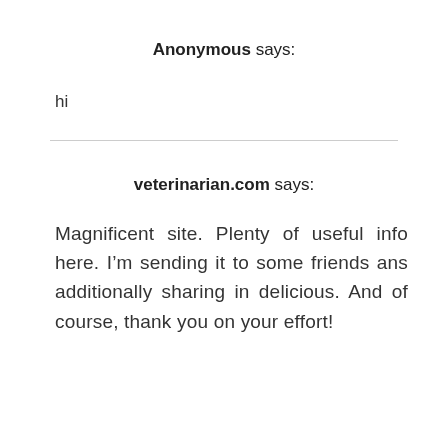Anonymous says:
hi
veterinarian.com says:
Magnificent site. Plenty of useful info here. I’m sending it to some friends ans additionally sharing in delicious. And of course, thank you on your effort!